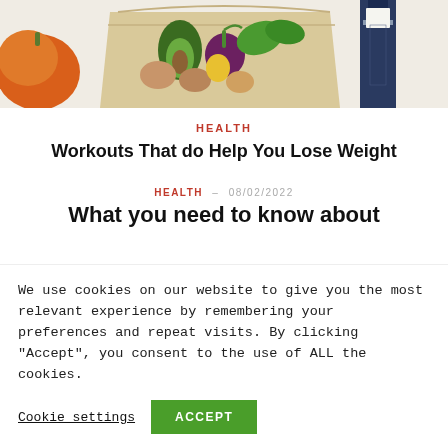[Figure (photo): Photo of a paper bag filled with colorful vegetables and fruits (pumpkin, avocado, beets, greens, potatoes) with a wine bottle on the right side]
HEALTH
Workouts That do Help You Lose Weight
HEALTH  –  08/02/2022
What you need to know about
We use cookies on our website to give you the most relevant experience by remembering your preferences and repeat visits. By clicking “Accept”, you consent to the use of ALL the cookies.
Cookie settings | ACCEPT